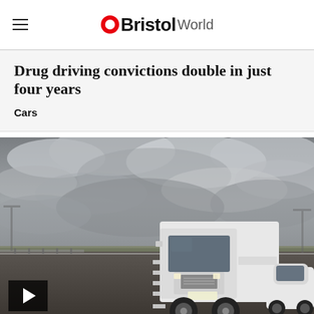OBristol World
Drug driving convictions double in just four years
Cars
[Figure (photo): A white lorry/truck cab driving on a road with a white car alongside, under a dramatic cloudy grey sky. A video play button overlay is visible in the bottom left corner.]